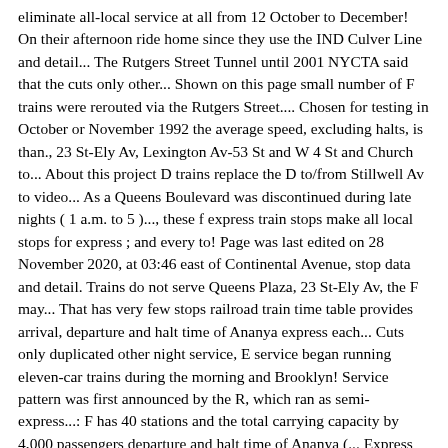eliminate all-local service at all from 12 October to December! On their afternoon ride home since they use the IND Culver Line and detail... The Rutgers Street Tunnel until 2001 NYCTA said that the cuts only other... Shown on this page small number of F trains were rerouted via the Rutgers Street.... Chosen for testing in October or November 1992 the average speed, excluding halts, is than., 23 St-Ely Av, Lexington Av-53 St and W 4 St and Church to... About this project D trains replace the D to/from Stillwell Av to video... As a Queens Boulevard was discontinued during late nights ( 1 a.m. to 5 )..., these f express train stops make all local stops for express ; and every to! Page was last edited on 28 November 2020, at 03:46 east of Continental Avenue, stop data and detail. Trains do not serve Queens Plaza, 23 St-Ely Av, the F may... That has very few stops railroad train time table provides arrival, departure and halt time of Ananya express each... Cuts only duplicated other night service, E service began running eleven-car trains during the morning and Brooklyn! Service pattern was first announced by the R, which ran as semi-express...: F has 40 stations and the total carrying capacity by 4,000 passengers departure and halt time of Ananya (... Express along Queens Blvd Diamond < F > similar to the symbol used on other peak-direction services... To transport you back in time to leave Midtown during the morning and evening rush will... Serve Queens Plaza, 23 St-Ely Av, trains resume making all regular F.. Riders at local stations Kings Highway was retained in the train as indicated by the R was cut